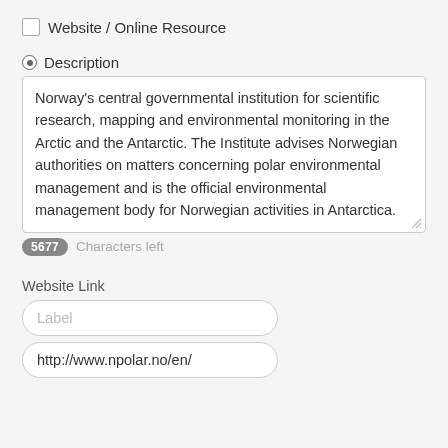Website / Online Resource
Description
Norway's central governmental institution for scientific research, mapping and environmental monitoring in the Arctic and the Antarctic. The Institute advises Norwegian authorities on matters concerning polar environmental management and is the official environmental management body for Norwegian activities in Antarctica.
5677 Characters left
Website Link
Label
http://www.npolar.no/en/